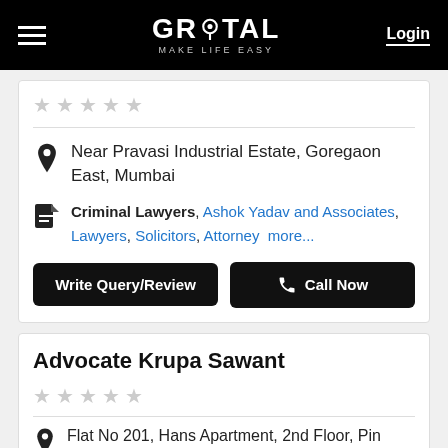GROTAL MAKE LIFE EASY | Login
[Figure (screenshot): 5 empty star rating icons]
Near Pravasi Industrial Estate, Goregaon East, Mumbai
Criminal Lawyers, Ashok Yadav and Associates, Lawyers, Solicitors, Attorney more...
Write Query/Review
Call Now
Advocate Krupa Sawant
[Figure (screenshot): 5 empty star rating icons]
Flat No 201, Hans Apartment, 2nd Floor, Pin